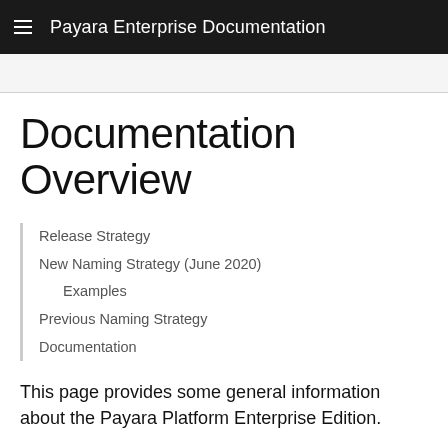Payara Enterprise Documentation
Documentation Overview
Release Strategy
New Naming Strategy (June 2020)
Examples
Previous Naming Strategy
Documentation
This page provides some general information about the Payara Platform Enterprise Edition.